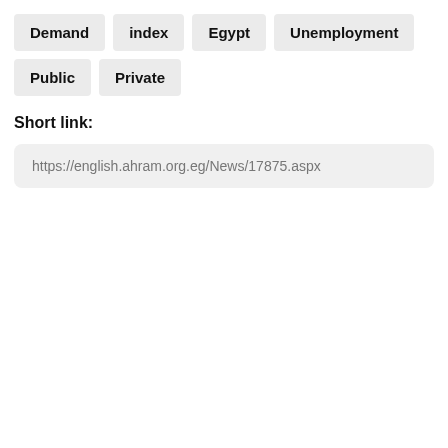Demand
index
Egypt
Unemployment
Public
Private
Short link:
https://english.ahram.org.eg/News/17875.aspx